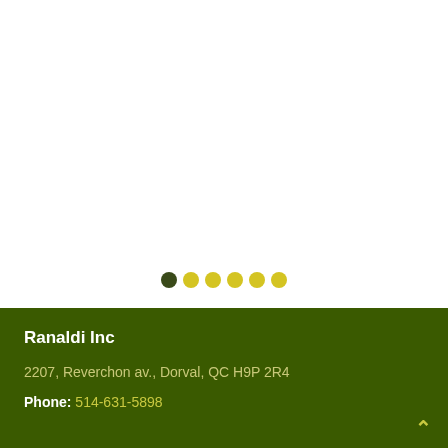[Figure (other): Carousel navigation dots: one dark green filled dot followed by five yellow filled dots, indicating a slideshow position indicator]
Ranaldi Inc
2207, Reverchon av., Dorval, QC H9P 2R4
Phone: 514-631-5898